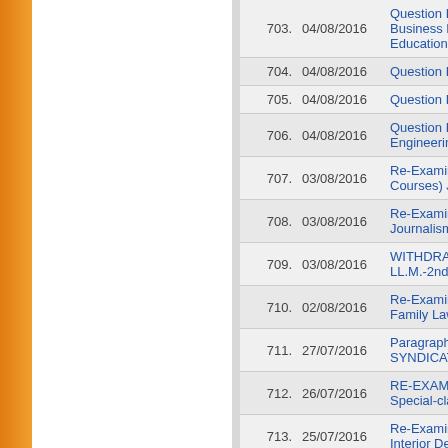| # | Date | Title |
| --- | --- | --- |
| 703. | 04/08/2016 | Question Bo... Business Ma... Education, L... |
| 704. | 04/08/2016 | Question Bo... |
| 705. | 04/08/2016 | Question Bo... |
| 706. | 04/08/2016 | Question Bo... Engineering)... |
| 707. | 03/08/2016 | Re-Examina... Courses) Jo... |
| 708. | 03/08/2016 | Re-Examina... Journalism-A... |
| 709. | 03/08/2016 | WITHDRAW... LL.M.-2nd S... |
| 710. | 02/08/2016 | Re-Examina... Family Law (... |
| 711. | 27/07/2016 | Paragraph 9... SYNDICATE... |
| 712. | 26/07/2016 | RE-EXAMIN... Special-clas... |
| 713. | 25/07/2016 | Re-Examina... Interior Desi... |